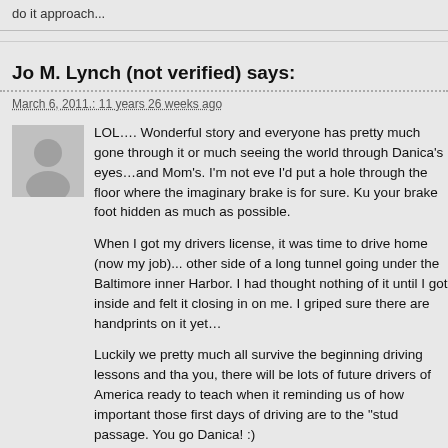do it approach...
Jo M. Lynch (not verified) says:
March 6, 2011.: 11 years 26 weeks ago
LOL…. Wonderful story and everyone has pretty much gone through it or much seeing the world through Danica's eyes…and Mom's. I'm not eve I'd put a hole through the floor where the imaginary brake is for sure. Ku your brake foot hidden as much as possible.
When I got my drivers license, it was time to drive home (now my job)... other side of a long tunnel going under the Baltimore inner Harbor. I had thought nothing of it until I got inside and felt it closing in on me. I griped sure there are handprints on it yet…
Luckily we pretty much all survive the beginning driving lessons and tha you, there will be lots of future drivers of America ready to teach when it reminding us of how important those first days of driving are to the "stud passage. You go Danica! :)
Safe driving…. Jo :)
http://whimzicals.com